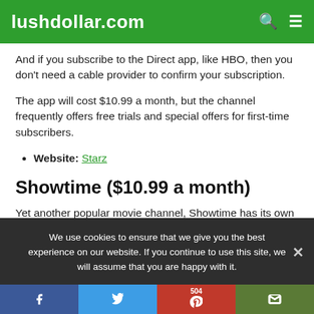lushdollar.com
And if you subscribe to the Direct app, like HBO, then you don't need a cable provider to confirm your subscription.
The app will cost $10.99 a month, but the channel frequently offers free trials and special offers for first-time subscribers.
Website: Starz
Showtime ($10.99 a month)
Yet another popular movie channel, Showtime has its own
We use cookies to ensure that we give you the best experience on our website. If you continue to use this site, we will assume that you are happy with it.